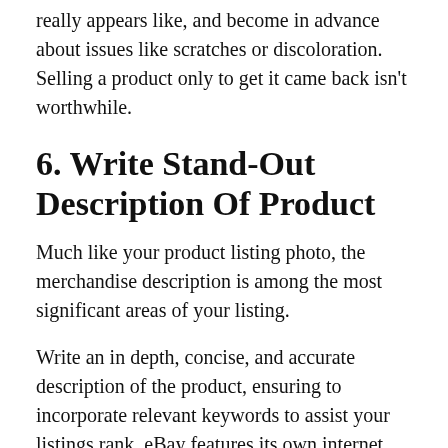really appears like, and become in advance about issues like scratches or discoloration. Selling a product only to get it came back isn't worthwhile.
6. Write Stand-Out Description Of Product
Much like your product listing photo, the merchandise description is among the most significant areas of your listing.
Write an in depth, concise, and accurate description of the product, ensuring to incorporate relevant keywords to assist your listings rank. eBay features its own internet search engine and mystery algorithms for ranking listings based on relevant keywords, so take some time to understand their fundamental Search engine